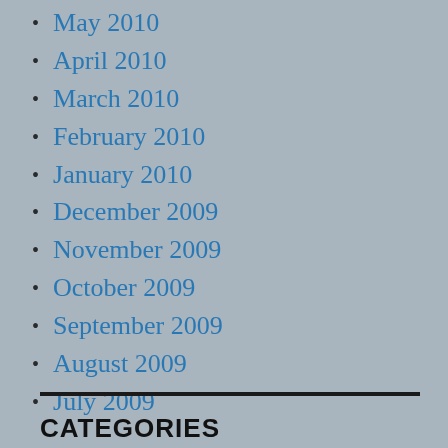May 2010
April 2010
March 2010
February 2010
January 2010
December 2009
November 2009
October 2009
September 2009
August 2009
July 2009
CATEGORIES